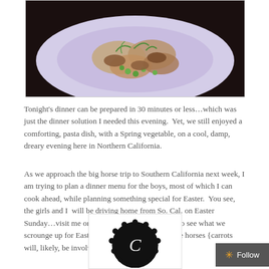[Figure (photo): Food photo showing pasta dish with peas and vegetables on a white plate against a dark background]
Tonight's dinner can be prepared in 30 minutes or less…which was just the dinner solution I needed this evening.  Yet, we still enjoyed a comforting, pasta dish, with a Spring vegetable, on a cool, damp, dreary evening here in Northern California.
As we approach the big horse trip to Southern California next week, I am trying to plan a dinner menu for the boys, most of which I can cook ahead, while planning something special for Easter.  You see, the girls and I  will be driving home from So. Cal. on Easter Sunday…visit me on Instagram Easter weekend to see what we scrounge up for Easter dinner on the road with the horses {carrots will, likely, be involved}!
[Figure (logo): Decorative circular lace-style logo with cursive initials]
[Figure (other): Follow button with orange asterisk star icon on dark grey background]